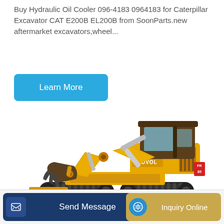Buy Hydraulic Oil Cooler 096-4183 0964183 for Caterpillar Excavator CAT E200B EL200B from SoonParts.new aftermarket excavators,wheel...
[Figure (other): Cyan/teal 'Learn More' button]
[Figure (photo): Yellow Lovol excavator with boom arm extended, cab on right side, blade at front, on white background]
[Figure (other): Bottom action bar with 'Send Message' button (dark blue) and 'Inquiry Online' button (gold/tan), with partial '- Ra' text in between]